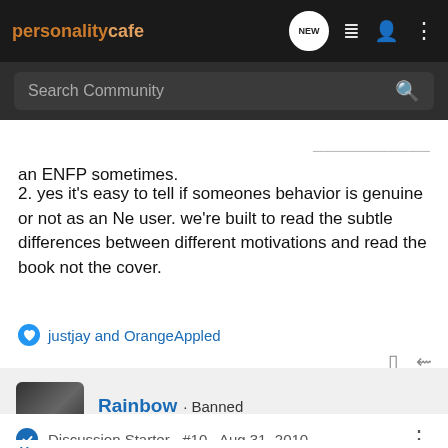personalitycafe - NEW
Search Community
an ENFP sometimes.
2. yes it's easy to tell if someones behavior is genuine or not as an Ne user. we're built to read the subtle differences between different motivations and read the book not the cover.
justjay and OrangeAppled
Rainbow · Banned
Joined Aug 30, 2010 · 2,078 Posts
Discussion Starter · #10 · Aug 31, 2010